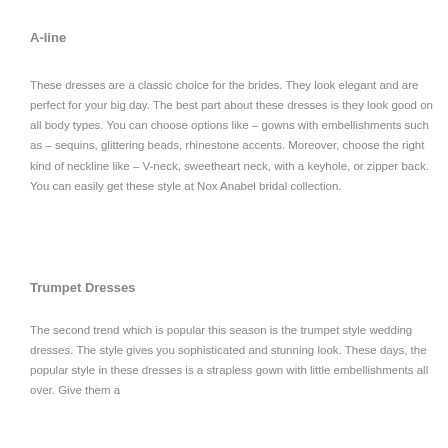A-line
These dresses are a classic choice for the brides. They look elegant and are perfect for your big day. The best part about these dresses is they look good on all body types. You can choose options like – gowns with embellishments such as – sequins, glittering beads, rhinestone accents. Moreover, choose the right kind of neckline like – V-neck, sweetheart neck, with a keyhole, or zipper back. You can easily get these style at Nox Anabel bridal collection.
Trumpet Dresses
The second trend which is popular this season is the trumpet style wedding dresses. The style gives you sophisticated and stunning look. These days, the popular style in these dresses is a strapless gown with little embellishments all over. Give them a